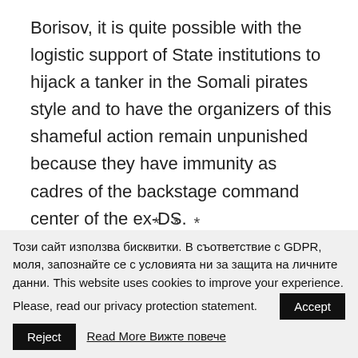Borisov, it is quite possible with the logistic support of State institutions to hijack a tanker in the Somali pirates style and to have the organizers of this shameful action remain unpunished because they have immunity as cadres of the backstage command center of the ex-DS.
***
If you find this article useful, support our work with
Този сайт използва бисквитки. В съответствие с GDPR, моля, запознайте се с условията ни за защита на личните данни. This website uses cookies to improve your experience. Please, read our privacy protection statement.
Accept
Reject
Read More Вижте повече